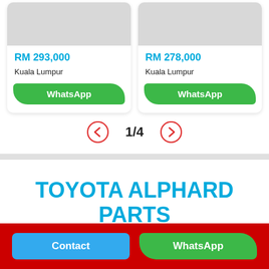RM 293,000
Kuala Lumpur
WhatsApp
RM 278,000
Kuala Lumpur
WhatsApp
1/4
TOYOTA ALPHARD parts for sale
Contact
WhatsApp